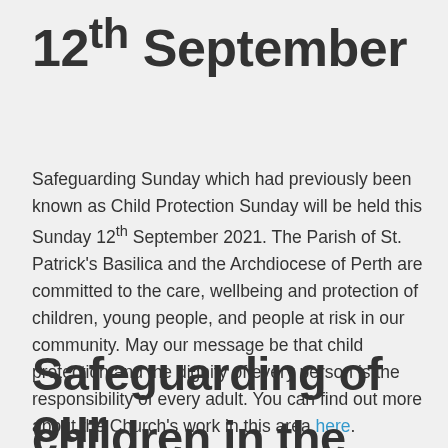12th September
Safeguarding Sunday which had previously been known as Child Protection Sunday will be held this Sunday 12th September 2021. The Parish of St. Patrick's Basilica and the Archdiocese of Perth are committed to the care, wellbeing and protection of children, young people, and people at risk in our community. May our message be that child protection and the dignity of every person is the responsibility of every adult. You can find out more about the Church's work in this area here.
Safeguarding of our
children in the Parish